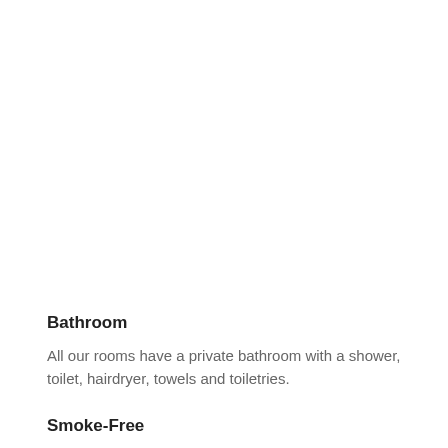Bathroom
All our rooms have a private bathroom with a shower, toilet, hairdryer, towels and toiletries.
Smoke-Free